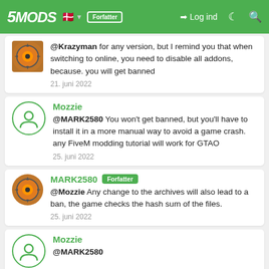5MODS | Log ind
@Krazyman for any version, but I remind you that when switching to online, you need to disable all addons, because. you will get banned
21. juni 2022
Mozzie
@MARK2580 You won't get banned, but you'll have to install it in a more manual way to avoid a game crash. any FiveM modding tutorial will work for GTAO
25. juni 2022
MARK2580 Forfatter
@Mozzie Any change to the archives will also lead to a ban, the game checks the hash sum of the files.
25. juni 2022
Mozzie
@MARK2580